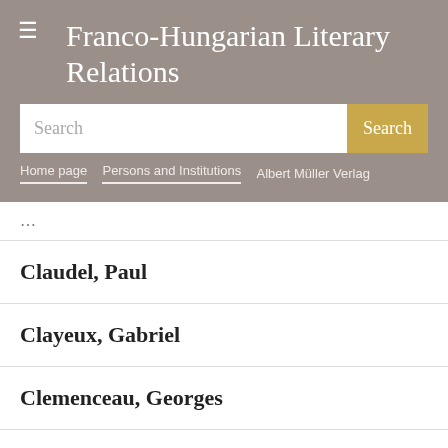Franco-Hungarian Literary Relations
Search
Home page | Persons and Institutions | Albert Müller Verlag
Claudel, Paul
Clayeux, Gabriel
Clemenceau, Georges
Clement, Jérôme